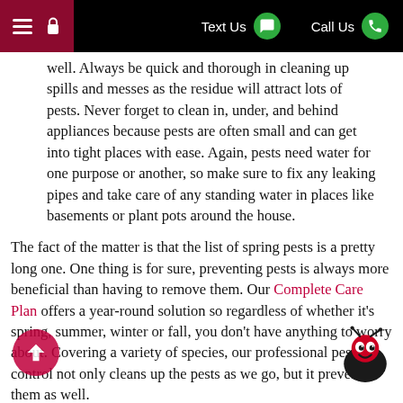Text Us  Call Us
well. Always be quick and thorough in cleaning up spills and messes as the residue will attract lots of pests. Never forget to clean in, under, and behind appliances because pests are often small and can get into tight places with ease. Again, pests need water for one purpose or another, so make sure to fix any leaking pipes and take care of any standing water in places like basements or plant pots around the house.
The fact of the matter is that the list of spring pests is a pretty long one. One thing is for sure, preventing pests is always more beneficial than having to remove them. Our Complete Care Plan offers a year-round solution so regardless of whether it’s spring, summer, winter or fall, you don’t have anything to worry about. Covering a variety of species, our professional pest control not only cleans up the pests as we go, but it prevents them as well.